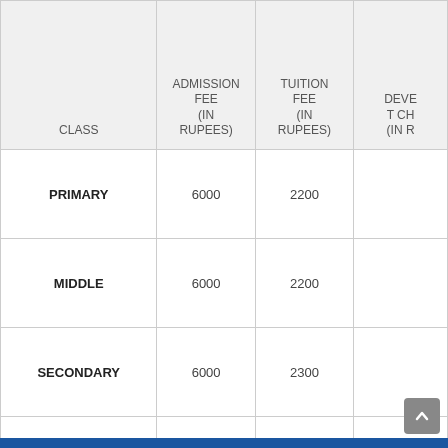| CLASS | ADMISSION FEE (IN RUPEES) | TUITION FEE (IN RUPEES) | DEVELOPMENT CHARGES (IN RUPEES) |
| --- | --- | --- | --- |
| PRIMARY | 6000 | 2200 |  |
| MIDDLE | 6000 | 2200 |  |
| SECONDARY | 6000 | 2300 |  |
| SENIOR SECONDARY | 6000 | 2550 |  |